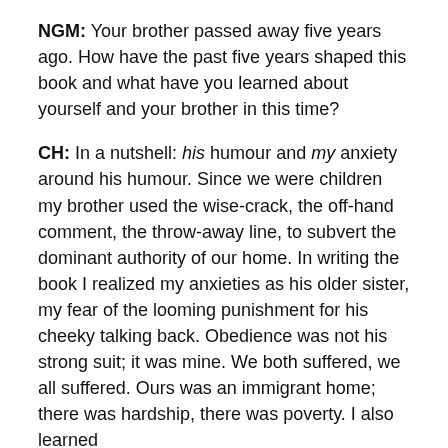NGM: Your brother passed away five years ago. How have the past five years shaped this book and what have you learned about yourself and your brother in this time?
CH: In a nutshell: his humour and my anxiety around his humour. Since we were children my brother used the wise-crack, the off-hand comment, the throw-away line, to subvert the dominant authority of our home. In writing the book I realized my anxieties as his older sister, my fear of the looming punishment for his cheeky talking back. Obedience was not his strong suit; it was mine. We both suffered, we all suffered. Ours was an immigrant home; there was hardship, there was poverty. I also learned